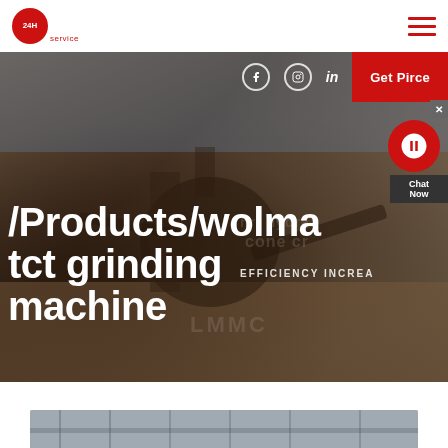service [logo] [hamburger menu]
[Figure (photo): Industrial mining/crushing machinery facility with large cone crusher and conveyor belts, outdoor setting, hero banner image with text overlay '/Products/wolma tct grinding machine' and social icons, Get Price button, Chat Now widget]
/Products/wolma tct grinding machine
[Figure (photo): Partial bottom image showing industrial facility interior, steel structure visible]